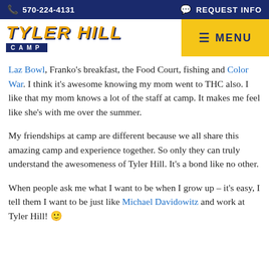570-224-4131  REQUEST INFO
[Figure (logo): Tyler Hill Camp logo with yellow italic text on white background and a blue bar reading CAMP underneath, with a yellow MENU button on the right]
Laz Bowl, Franko's breakfast, the Food Court, fishing and Color War. I think it's awesome knowing my mom went to THC also. I like that my mom knows a lot of the staff at camp. It makes me feel like she's with me over the summer.
My friendships at camp are different because we all share this amazing camp and experience together. So only they can truly understand the awesomeness of Tyler Hill. It's a bond like no other.
When people ask me what I want to be when I grow up – it's easy, I tell them I want to be just like Michael Davidowitz and work at Tyler Hill! 🙂